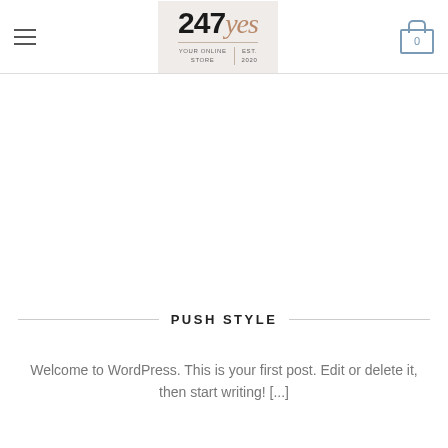247yes — YOUR ONLINE STORE | EST. 2020
PUSH STYLE
Welcome to WordPress. This is your first post. Edit or delete it, then start writing! [...]